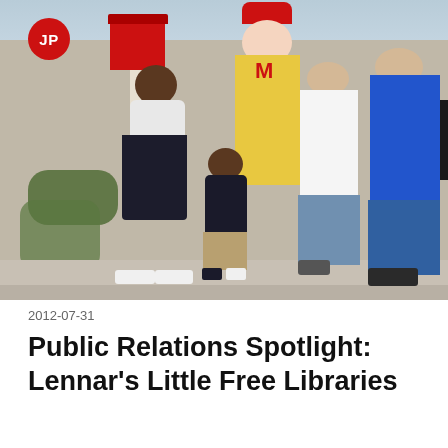[Figure (photo): Outdoor photograph showing a woman in a white top, a child in a black shirt and khaki shorts, Ronald McDonald in yellow costume, a man in white shirt, and a man in blue shirt, gathered around a red Little Free Library book station on a sidewalk. A red circle badge with 'JP' is overlaid in the top-left corner of the photo.]
2012-07-31
Public Relations Spotlight: Lennar's Little Free Libraries